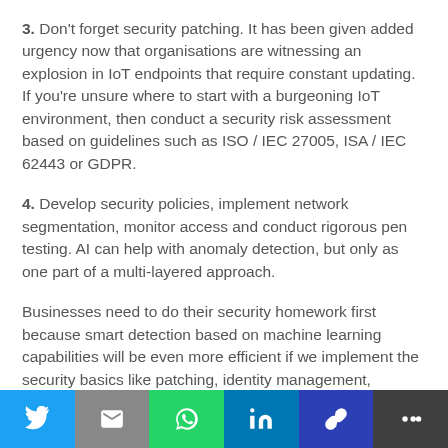3. Don't forget security patching. It has been given added urgency now that organisations are witnessing an explosion in IoT endpoints that require constant updating. If you're unsure where to start with a burgeoning IoT environment, then conduct a security risk assessment based on guidelines such as ISO / IEC 27005, ISA / IEC 62443 or GDPR.
4. Develop security policies, implement network segmentation, monitor access and conduct rigorous pen testing. AI can help with anomaly detection, but only as one part of a multi-layered approach.
Businesses need to do their security homework first because smart detection based on machine learning capabilities will be even more efficient if we implement the security basics like patching, identity management, network segmentation first. These will help them keep attacks under control and move